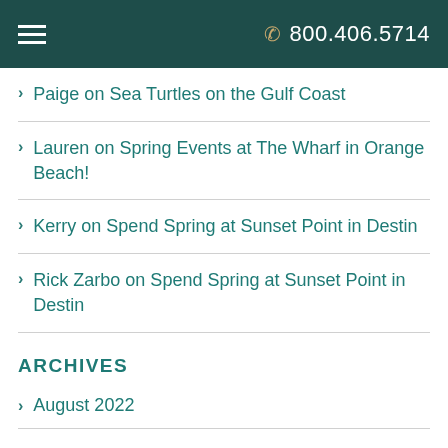800.406.5714
Paige on Sea Turtles on the Gulf Coast
Lauren on Spring Events at The Wharf in Orange Beach!
Kerry on Spend Spring at Sunset Point in Destin
Rick Zarbo on Spend Spring at Sunset Point in Destin
ARCHIVES
August 2022